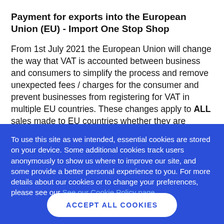Payment for exports into the European Union (EU) - Import One Stop Shop
From 1st July 2021 the European Union will change the way that VAT is accounted between business and consumers to simplify the process and remove unexpected fees / charges for the consumer and prevent businesses from registering for VAT in multiple EU countries. These changes apply to ALL sales made to EU countries whether they are transacted online or not. These payment changes will apply
To use this site as we intended, essential cookies are stored on your device. Some additional cookies track users anonymously to show us where to improve our site, and some provide a better personal experience to you. For more details about our cookies or to change your preferences, please see our See our Cookie Policy page.
ACCEPT ALL COOKIES